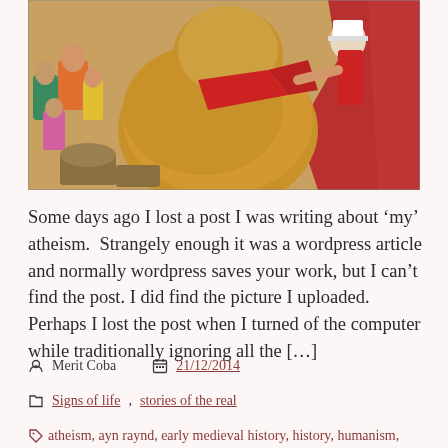[Figure (illustration): A colorful painting depicting medieval or folk figures, including a large bear-like animal in warm orange-brown tones, surrounded by human figures in vibrant costumes with red and green tones.]
Some days ago I lost a post I was writing about ‘my’ atheism.  Strangely enough it was a wordpress article and normally wordpress saves your work, but I can’t find the post. I did find the picture I uploaded.  Perhaps I lost the post when I turned of the computer while traditionally ignoring all the […]
Merit Coba   21/12/2014
Signs of life, stories of the real
atheism, ayn raynd, early medieval history, history, humanism,